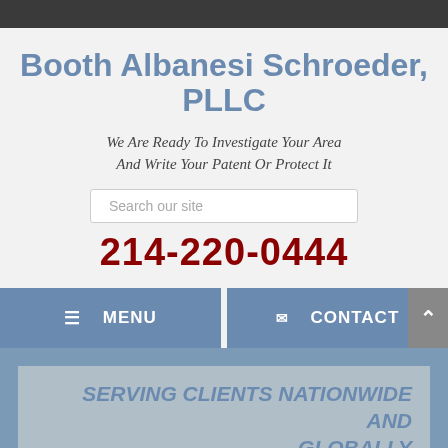Booth Albanesi Schroeder, PLLC
We Are Ready To Investigate Your Area And Write Your Patent Or Protect It
214-220-0444
[Figure (screenshot): Navigation bar with MENU and CONTACT buttons in slate blue, and a scroll-up arrow button on the right]
SERVING CLIENTS NATIONWIDE AND GLOBALLY